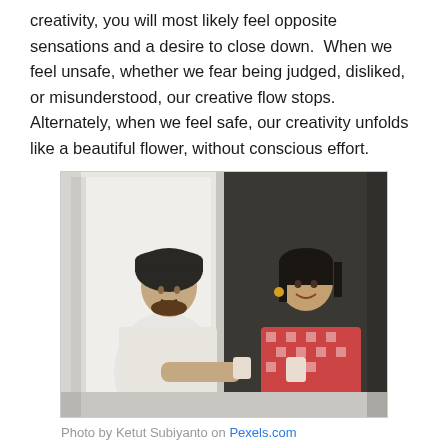creativity, you will most likely feel opposite sensations and a desire to close down.  When we feel unsafe, whether we fear being judged, disliked, or misunderstood, our creative flow stops. Alternately, when we feel safe, our creativity unfolds like a beautiful flower, without conscious effort.
[Figure (photo): A man wearing a dark turban and a woman in a red and white checked outfit sitting together in a doorway, smiling and talking, holding cups.]
Photo by Ketut Subiyanto on Pexels.com
Being aware of this is a positive as we can maximize our